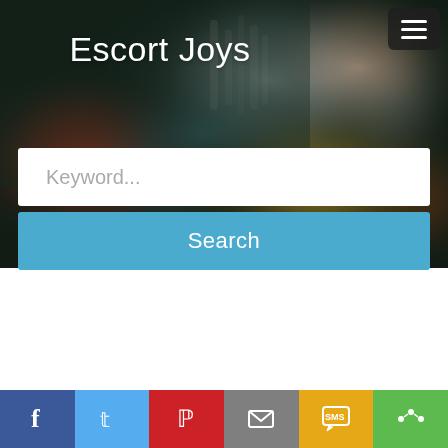Escort Joys
[Figure (screenshot): Website hero banner with blurred city lights bokeh background and navigation menu icon]
Keyword...
Search
Maui Escorts
[Figure (photo): Partial view of a card/listing image with tan/beige tones]
Social sharing bar with Facebook, Twitter, Pinterest, Email, SMS, and Share buttons